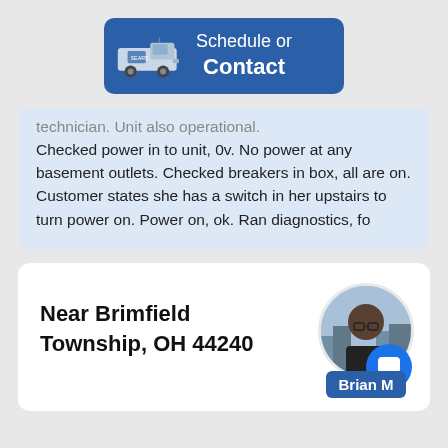[Figure (other): Blue button with van icon showing 'Schedule or Contact']
Checked power in to unit, 0v. No power at any basement outlets. Checked breakers in box, all are on. Customer states she has a switch in her upstairs to turn power on. Power on, ok. Ran diagnostics, fo
Near Brimfield Township, OH 44240
[Figure (photo): Circular profile photo of Brian M, a man with glasses]
Brian M